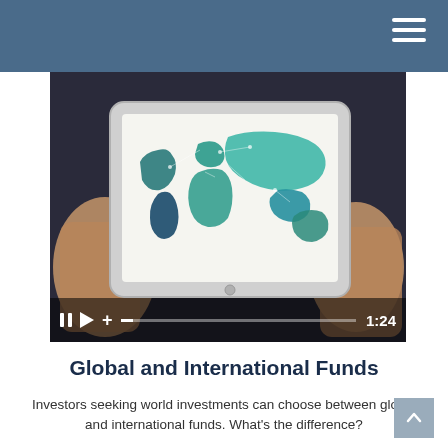[Figure (screenshot): A video screenshot showing hands holding a tablet displaying a world map with teal/blue continent shapes. Video controls are visible at the bottom showing pause, play, plus icons, a seek bar, and a timestamp of 1:24.]
Global and International Funds
Investors seeking world investments can choose between global and international funds. What's the difference?